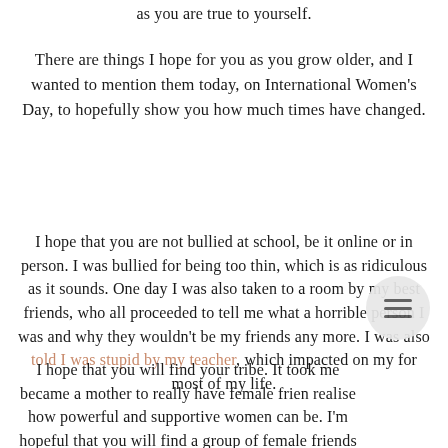as you are true to yourself.
There are things I hope for you as you grow older, and I wanted to mention them today, on International Women's Day, to hopefully show you how much times have changed.
I hope that you are not bullied at school, be it online or in person. I was bullied for being too thin, which is as ridiculous as it sounds. One day I was also taken to a room by my best friends, who all proceeded to tell me what a horrible person I was and why they wouldn't be my friends any more. I was also told I was stupid by my teacher, which impacted on my for most of my life.
I hope that you will find your tribe. It took me became a mother to really have female frien realise how powerful and supportive women can be. I'm hopeful that you will find a group of female friends who